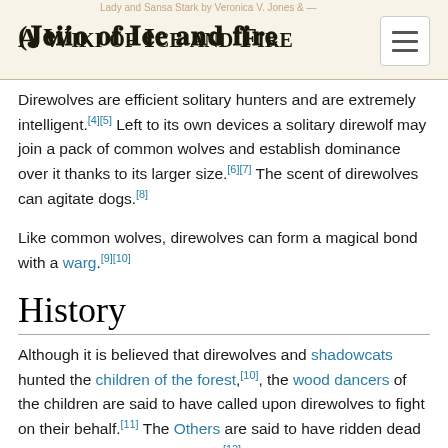A Wiki of Ice and Fire
Direwolves are efficient solitary hunters and are extremely intelligent.[4][5] Left to its own devices a solitary direwolf may join a pack of common wolves and establish dominance over it thanks to its larger size.[6][7] The scent of direwolves can agitate dogs.[8]
Like common wolves, direwolves can form a magical bond with a warg.[9][10]
History
Although it is believed that direwolves and shadowcats hunted the children of the forest,[10], the wood dancers of the children are said to have called upon direwolves to fight on their behalf.[11] The Others are said to have ridden dead animals, including direwolves.[12]
Direwolves once roamed the north in large packs.[13] According to a semi-canon source, direwolves have been hunted by people because they are a large and dangerous predator.[14] According to Theon Greyjoy, direwolves have not been sighted south of the Wall